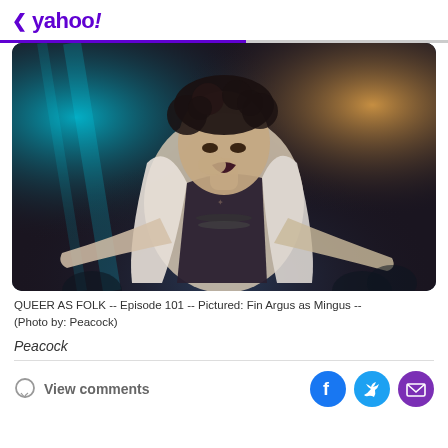< yahoo!
[Figure (photo): A person with curly dark hair, dark lipstick, wearing a white jacket open over a dark top with a beaded necklace, arms spread wide, performing on a stage with blue and orange lighting. Scene from Queer as Folk TV show.]
QUEER AS FOLK -- Episode 101 -- Pictured: Fin Argus as Mingus -- (Photo by: Peacock)
Peacock
View comments